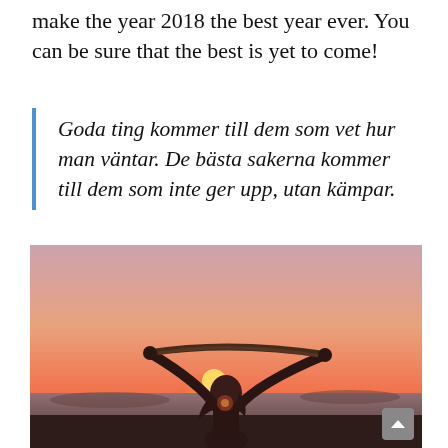make the year 2018 the best year ever. You can be sure that the best is yet to come!
Goda ting kommer till dem som vet hur man väntar. De bästa sakerna kommer till dem som inte ger upp, utan kämpar.
[Figure (photo): A person holding a wooden stick above their head at sunset, silhouetted against a warm pink and orange sky with a wide landscape in the background.]